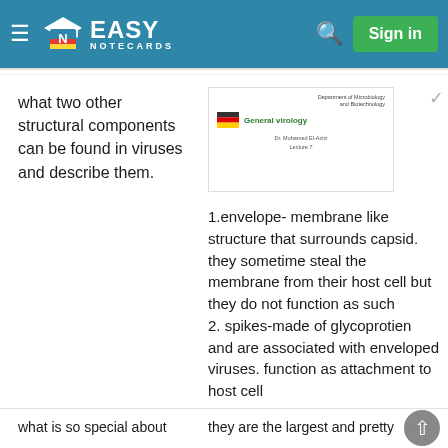EASY NOTECARDS
what two other structural components can be found in viruses and describe them.
[Figure (screenshot): Slide thumbnail showing 'General virology' with German flag icon, Department of Microbiology and Biotechnology header, Dr. Mohamed El-Azizi, Lecture 7]
1.envelope- membrane like structure that surrounds capsid. they sometime steal the membrane from their host cell but they do not function as such 2. spikes-made of glycoprotien and are associated with enveloped viruses. function as attachment to host cell
what is so special about
they are the largest and pretty